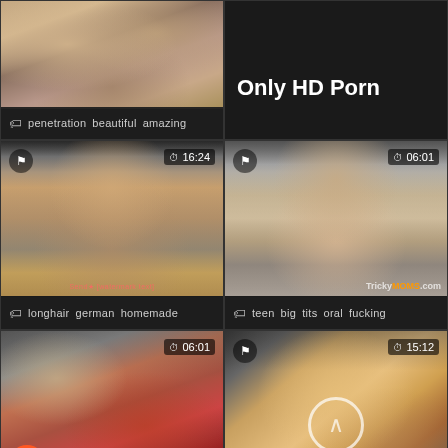[Figure (photo): Thumbnail of two women in intimate pose on bed]
penetration  beautiful  amazing
[Figure (photo): Dark background with 'Only HD Porn' text overlay]
Only HD Porn
[Figure (photo): Dark-haired woman crouching, duration 16:24]
longhair  german  homemade
[Figure (photo): Dark-haired woman performing oral, TrickyMOMS watermark, duration 06:01]
teen  big  tits  oral  fucking
[Figure (photo): Blonde woman in red clothing, duration 06:01]
bbw  mature  turkish
[Figure (photo): Close-up intimate scene with scroll-up arrow icon, duration 15:12]
fucking  hidden  cam  hidden
[Figure (photo): Partial thumbnail bottom-left, duration 1:12]
[Figure (photo): Partial thumbnail bottom-right, duration 0:07]